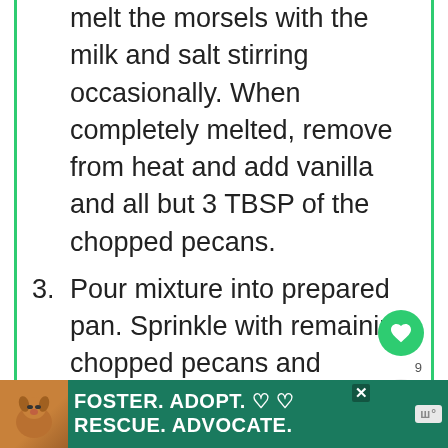melt the morsels with the milk and salt stirring occasionally. When completely melted, remove from heat and add vanilla and all but 3 TBSP of the chopped pecans.
3. Pour mixture into prepared pan. Sprinkle with remaining chopped pecans and refrigerate for 2 hours, or until firm.
4. When firm, remove fudge with foil and peel foil from bottom of fudge.
[Figure (infographic): Ad banner: dog photo on left, teal background with text FOSTER. ADOPT. RESCUE. ADVOCATE. with heart icons and close button]